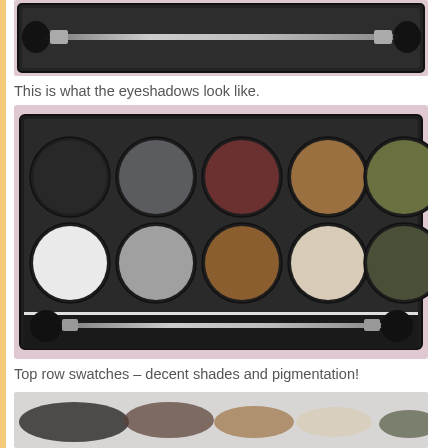[Figure (photo): Top portion of an eyeshadow palette showing a dual-ended makeup brush in a black compact case, against a floral pink background.]
This is what the eyeshadows look like.
[Figure (photo): Open eyeshadow palette with 10 shades arranged in two rows of five: top row includes black, dark grey, deep burgundy, golden brown, and olive green; bottom row includes white, light grey, medium brown, cream/beige, and dark olive green. A dual-ended brush is visible at the bottom of the palette. Background is a floral pink fabric.]
Top row swatches – decent shades and pigmentation!
[Figure (photo): Partial view of eyeshadow swatches showing dark and brown tones swatched on a light surface.]